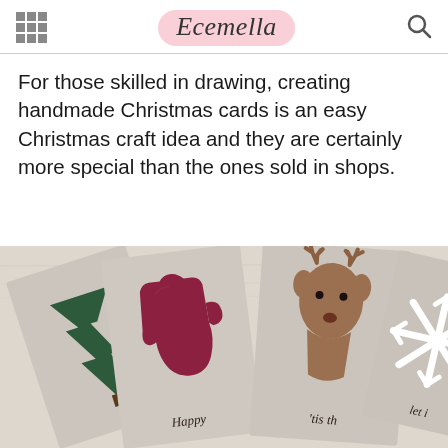Ecemella
For those skilled in drawing, creating handmade Christmas cards is an easy Christmas craft idea and they are certainly more special than the ones sold in shops.
[Figure (photo): Photo of handmade Christmas cards fanned out on a wooden surface. Cards are kraft/gray cardboard featuring cut-out shapes: a green Christmas tree, a dark red mitten, a brown reindeer head, and a white snowflake. Cards have italic text reading 'Happy', ''tis th', and 'let i'.]